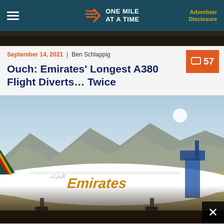ONE MILE AT A TIME | Advertiser Disclosure
[Figure (photo): Partial top image strip showing dark tones at top of page]
September 14, 2021 | Ben Schlappig
Ouch: Emirates' Longest A380 Flight Diverts… Twice
[Figure (photo): Emirates A380 aircraft on tarmac with mountains and blue sky in background, Emirates logo visible on fuselage]